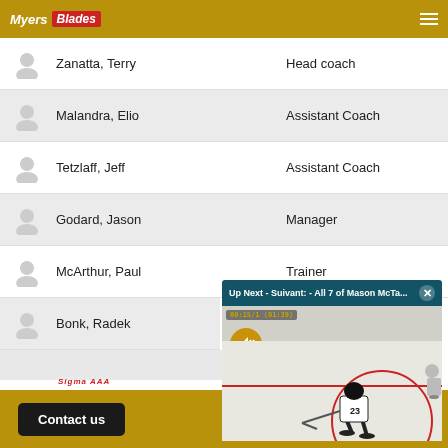Myers Blades Hockey
Zanatta, Terry — Head coach
Malandra, Elio — Assistant Coach
Tetzlaff, Jeff — Assistant Coach
Godard, Jason — Manager
McArthur, Paul — Trainer
Bonk, Radek
[Figure (screenshot): Video popup overlay showing 'Up Next - Suivant: - All 7 of Mason McTa...' with a hockey player on ice rink, mute button visible]
Contact us   Quick Menu